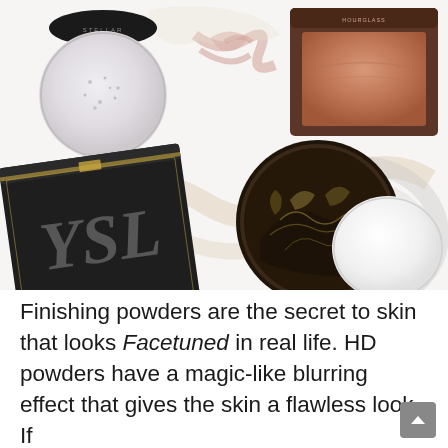[Figure (photo): Flat lay of multiple makeup finishing powder compacts and loose powder containers: Stellar loose powder (top left, black lid, translucent powder), Hourglass compact (top right, brown case with bronzy powder), YSL compact (bottom left, black case with cream powder and YSL logo), Tarte circular compact (center, black round tin with tropical leaf design), and a loose powder jar (bottom right, white/clear). Set against a white background with decorative paint swirls.]
Finishing powders are the secret to skin that looks Facetuned in real life. HD powders have a magic-like blurring effect that gives the skin a flawless look. If